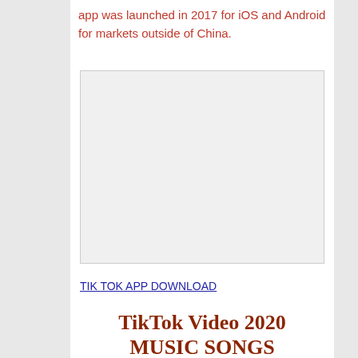app was launched in 2017 for iOS and Android for markets outside of China.
[Figure (other): Blank/empty image placeholder rectangle with light gray background]
TIK TOK APP DOWNLOAD
TikTok Video 2020 MUSIC SONGS